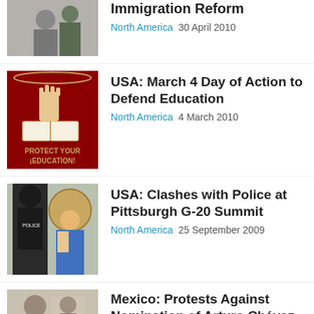[Figure (photo): Photo of people at an immigration rally, partially visible at top of page]
Immigration Reform
North America  30 April 2010
[Figure (illustration): Red and white illustration with raised fist over a book, text reading PROTECT YOUR ¡EDUCATION!]
USA: March 4 Day of Action to Defend Education
North America  4 March 2010
[Figure (photo): Photo of police officer and protester wearing a wide-brimmed straw hat at G-20 summit]
USA: Clashes with Police at Pittsburgh G-20 Summit
North America  25 September 2009
[Figure (photo): Photo of people at a protest in Mexico, partially cut off at bottom]
Mexico: Protests Against Nomination of Arturo Chávez